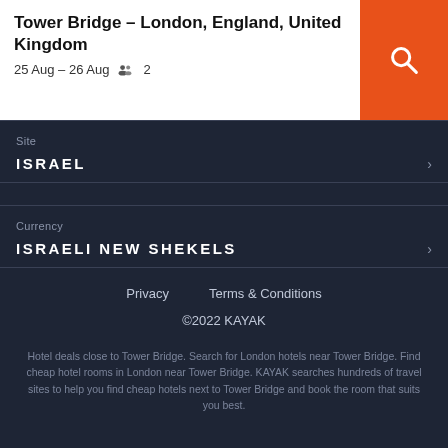Tower Bridge – London, England, United Kingdom
25 Aug – 26 Aug  2
Site
ISRAEL
Currency
ISRAELI NEW SHEKELS
Privacy    Terms & Conditions
©2022 KAYAK
Hotel deals close to Tower Bridge. Search for London hotels near Tower Bridge. Find cheap hotel rooms in London near Tower Bridge. KAYAK searches hundreds of travel sites to help you find cheap hotels next to Tower Bridge and book the room that suits you best.